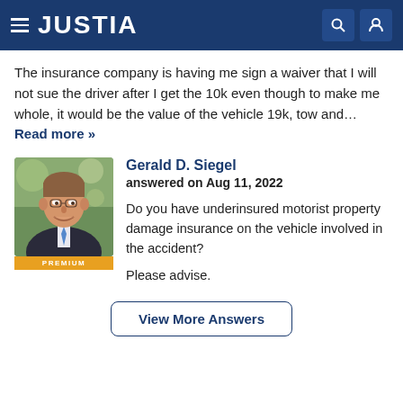JUSTIA
The insurance company is having me sign a waiver that I will not sue the driver after I get the 10k even though to make me whole, it would be the value of the vehicle 19k, tow and… Read more »
Gerald D. Siegel
answered on Aug 11, 2022

Do you have underinsured motorist property damage insurance on the vehicle involved in the accident?

Please advise.
[Figure (photo): Professional headshot of Gerald D. Siegel, an attorney in a suit with a blue tie, smiling. A gold 'PREMIUM' label appears below the photo.]
View More Answers